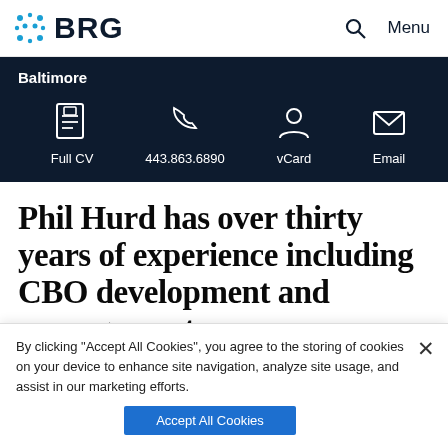BRG | Menu
Baltimore
[Figure (infographic): Four contact icons in a dark navy bar: Full CV (document icon), 443.863.6890 (phone icon), vCard (person icon), Email (envelope icon)]
Phil Hurd has over thirty years of experience including CBO development and management
By clicking "Accept All Cookies", you agree to the storing of cookies on your device to enhance site navigation, analyze site usage, and assist in our marketing efforts.